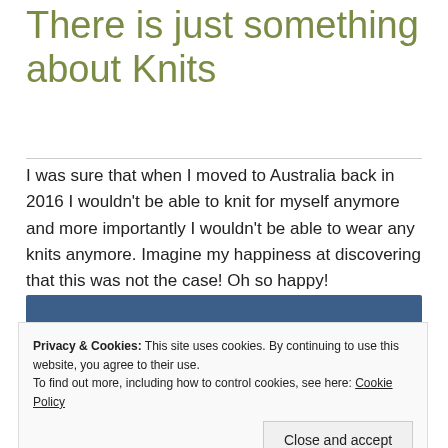There is just something about Knits
I was sure that when I moved to Australia back in 2016 I wouldn't be able to knit for myself anymore and more importantly I wouldn't be able to wear any knits anymore. Imagine my happiness at discovering that this was not the case! Oh so happy!
[Figure (photo): Blue rectangular image placeholder, partially visible]
Privacy & Cookies: This site uses cookies. By continuing to use this website, you agree to their use. To find out more, including how to control cookies, see here: Cookie Policy
Close and accept